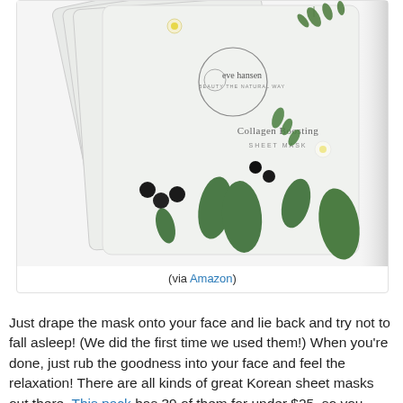[Figure (photo): Multiple Eve Hansen Collagen Boosting Sheet Masks fanned out, showing white packaging with botanical (leaves, berries, flowers) decorations and the Eve Hansen logo]
(via Amazon)
Just drape the mask onto your face and lie back and try not to fall asleep!  (We did the first time we used them!)  When you're done, just rub the goodness into your face and feel the relaxation!  There are all kinds of great Korean sheet masks out there.  This pack has 39 of them for under $25, so you could treat yo'self once a week for the better part of the